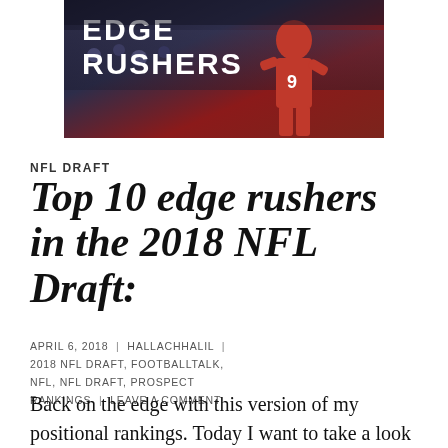[Figure (photo): Sports photo header showing text 'EDGE RUSHERS' in white bold letters on dark background with player in red jersey number 9]
NFL DRAFT
Top 10 edge rushers in the 2018 NFL Draft:
APRIL 6, 2018 | HALLACHHALIL | 2018 NFL DRAFT, FOOTBALLTALK, NFL, NFL DRAFT, PROSPECT RANKINGS | LEAVE A COMMENT
Back on the edge with this version of my positional rankings. Today I want to take a look at the defensive side of the ball, since I talked about